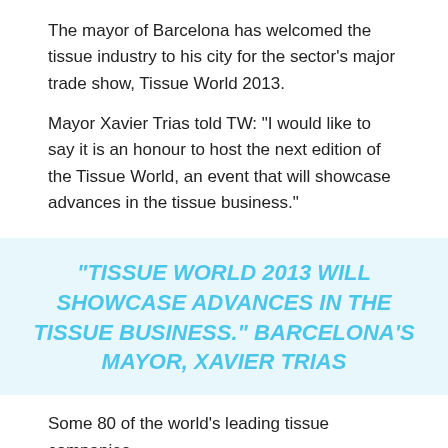The mayor of Barcelona has welcomed the tissue industry to his city for the sector's major trade show, Tissue World 2013.
Mayor Xavier Trias told TW: “I would like to say it is an honour to host the next edition of the Tissue World, an event that will showcase advances in the tissue business.”
“TISSUE WORLD 2013 WILL SHOWCASE ADVANCES IN THE TISSUE BUSINESS.” BARCELONA’S MAYOR, XAVIER TRIAS
Some 80 of the world’s leading tissue companies